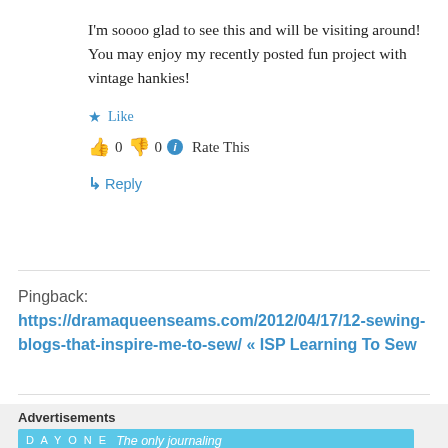I'm soooo glad to see this and will be visiting around! You may enjoy my recently posted fun project with vintage hankies!
Like
👍 0 👎 0 ℹ Rate This
↳ Reply
Pingback: https://dramaqueenseams.com/2012/04/17/12-sewing-blogs-that-inspire-me-to-sew/ « ISP Learning To Sew
Advertisements
[Figure (other): Day One journaling app advertisement banner with blue background, app icons, and text: The only journaling app you'll ever need.]